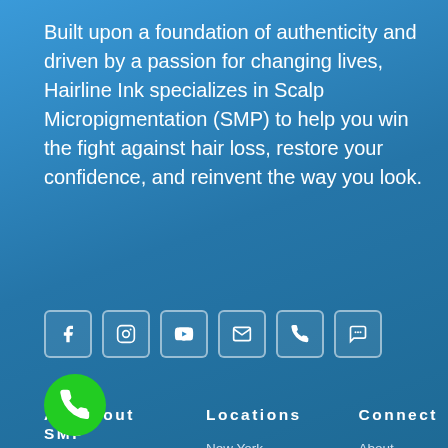Built upon a foundation of authenticity and driven by a passion for changing lives, Hairline Ink specializes in Scalp Micropigmentation (SMP) to help you win the fight against hair loss, restore your confidence, and reinvent the way you look.
[Figure (infographic): Row of 6 social media icon buttons: Facebook, Instagram, YouTube, Email, Phone, SMS]
All About SMP
Locations
Connect
What is SMP?
Scar Camouflage
Adding Density to Thin H...
...Treatment
Cost of Scalp
New York
Chicago
Los Angeles
Miami
Washington DC
Houston
About Hairline Ink
Get a Quote
Schedule an Appointment
Text Our Team
Contact us